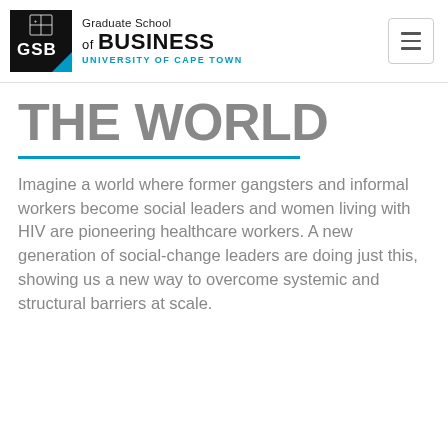[Figure (logo): UCT Graduate School of Business logo with black square containing GSB text and crest, alongside text 'Graduate School of BUSINESS UNIVERSITY OF CAPE TOWN']
THE WORLD
Imagine a world where former gangsters and informal workers become social leaders and women living with HIV are pioneering healthcare workers. A new generation of social-change leaders are doing just this, showing us a new way to overcome systemic and structural barriers at scale.